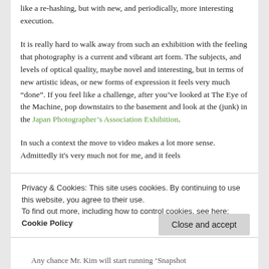like a re-hashing, but with new, and periodically, more interesting execution.
It is really hard to walk away from such an exhibition with the feeling that photography is a current and vibrant art form. The subjects, and levels of optical quality, maybe novel and interesting, but in terms of new artistic ideas, or new forms of expression it feels very much “done”. If you feel like a challenge, after you’ve looked at The Eye of the Machine, pop downstairs to the basement and look at the (junk) in the Japan Photographer’s Association Exhibition.
In such a context the move to video makes a lot more sense. Admittedly it’s very much not for me, and it feels
Privacy & Cookies: This site uses cookies. By continuing to use this website, you agree to their use.
To find out more, including how to control cookies, see here: Cookie Policy
Close and accept
Any chance Mr. Kim will start running ‘Snapshot